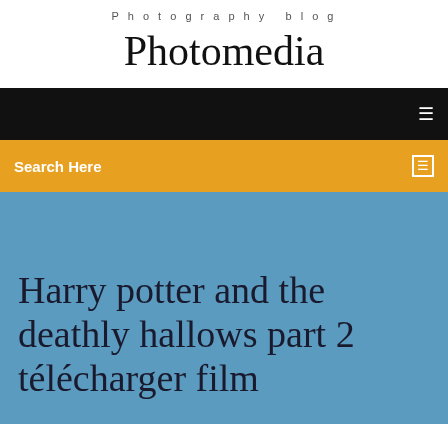Photography blog
Photomedia
Search Here
Harry potter and the deathly hallows part 2 télécharger film